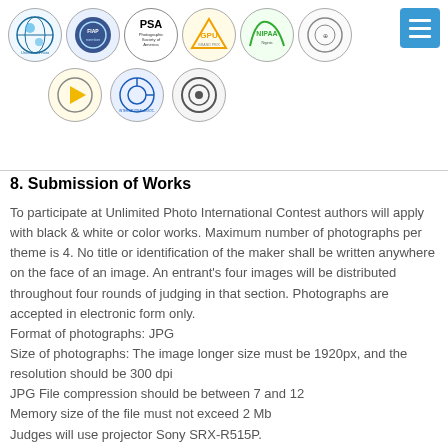[Figure (illustration): Row of organization logos including PSA (Photographic Society of America), GPU, NIPAA, and other photography organization emblems, plus a blue hamburger menu button in the top right]
8. Submission of Works
To participate at Unlimited Photo International Contest authors will apply with black & white or color works. Maximum number of photographs per theme is 4. No title or identification of the maker shall be written anywhere on the face of an image. An entrant's four images will be distributed throughout four rounds of judging in that section. Photographs are accepted in electronic form only.
Format of photographs: JPG
Size of photographs: The image longer size must be 1920px, and the resolution should be 300 dpi
JPG File compression should be between 7 and 12
Memory size of the file must not exceed 2 Mb
Judges will use projector Sony SRX-R515P.